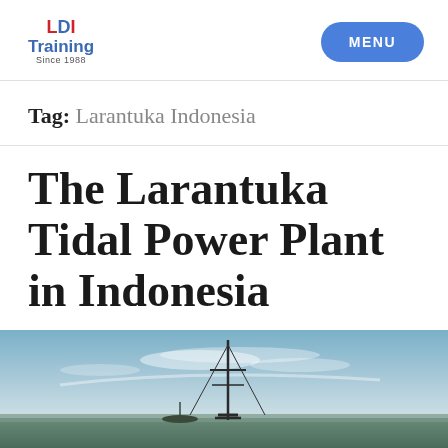LDI Training Since 1988 | MENU
Tag: Larantuka Indonesia
The Larantuka Tidal Power Plant in Indonesia
[Figure (photo): Photograph of a tidal power plant structure against a sky with clouds, viewed from below]